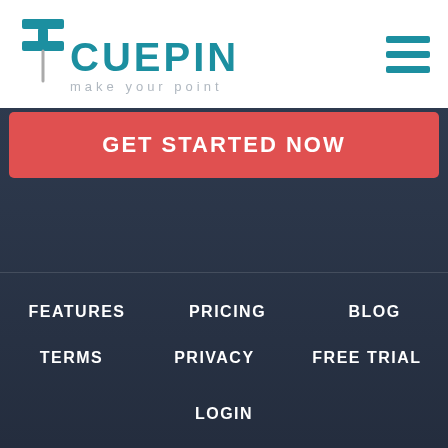[Figure (logo): ICUEPIN logo with pin icon and tagline 'make your point', plus hamburger menu icon top right]
GET STARTED NOW
FEATURES
PRICING
BLOG
TERMS
PRIVACY
FREE TRIAL
LOGIN